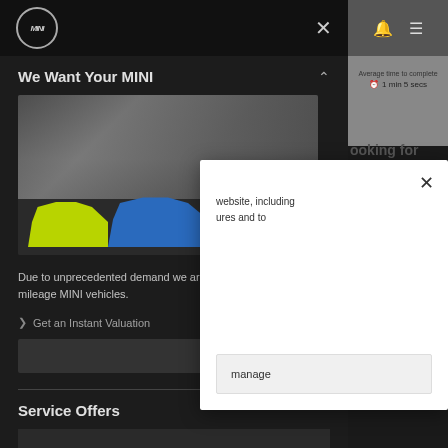[Figure (screenshot): MINI website screenshot showing a dark overlay panel with 'We Want Your MINI' section featuring cars image, description text, and a 'Service Offers' section below. A white cookie consent modal is overlaid on the right portion.]
We Want Your MINI
Due to unprecedented demand we are actively looking for low mileage MINI vehicles.
Get an Instant Valuation
Service Offers
website, including ures and to
manage
Average time to complete 1 min 5 secs
ooking for